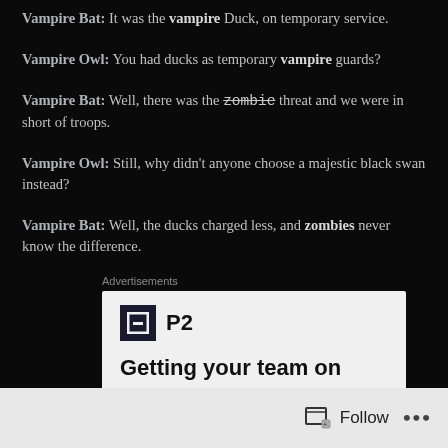Vampire Bat: It was the vampire Duck, on temporary service.
Vampire Owl: You had ducks as temporary vampire guards?
Vampire Bat: Well, there was the zombie threat and we were in short of troops.
Vampire Owl: Still, why didn't anyone choose a majestic black swan instead?
Vampire Bat: Well, the ducks charged less, and zombies never know the difference.
Advertisements
[Figure (screenshot): Advertisement for P2 product showing logo and headline 'Getting your team on']
Follow ...